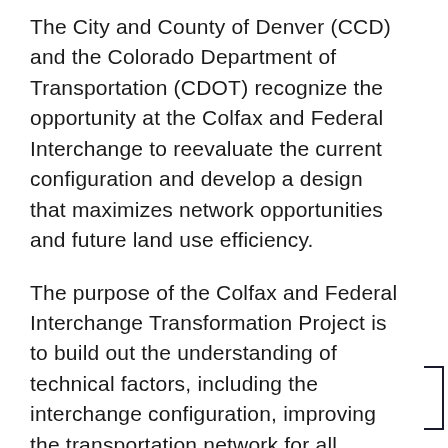The City and County of Denver (CCD) and the Colorado Department of Transportation (CDOT) recognize the opportunity at the Colfax and Federal Interchange to reevaluate the current configuration and develop a design that maximizes network opportunities and future land use efficiency.
The purpose of the Colfax and Federal Interchange Transformation Project is to build out the understanding of technical factors, including the interchange configuration, improving the transportation network for all users, stormwater requirements and possibilities, and evaluate the scenarios that best connect to the vision, goals, recommendations and strategies from previous citywide and area specific plans.